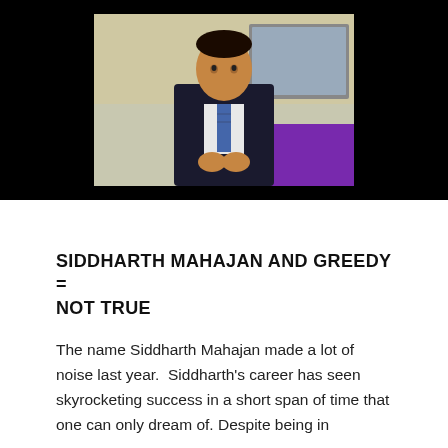[Figure (photo): A man in a dark suit and tie standing in front of a screen, photographed against a black background. He appears to be at a professional event.]
SIDDHARTH MAHAJAN AND GREEDY = NOT TRUE
The name Siddharth Mahajan made a lot of noise last year.  Siddharth's career has seen skyrocketing success in a short span of time that one can only dream of. Despite being in